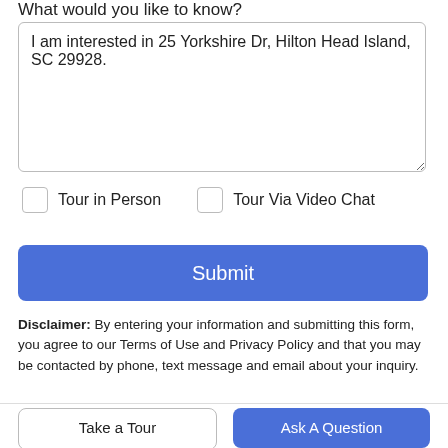What would you like to know?
I am interested in 25 Yorkshire Dr, Hilton Head Island, SC 29928.
Tour in Person
Tour Via Video Chat
Submit
Disclaimer: By entering your information and submitting this form, you agree to our Terms of Use and Privacy Policy and that you may be contacted by phone, text message and email about your inquiry.
Take a Tour
Ask A Question